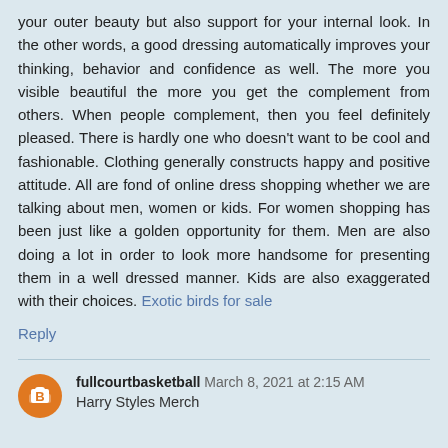your outer beauty but also support for your internal look. In the other words, a good dressing automatically improves your thinking, behavior and confidence as well. The more you visible beautiful the more you get the complement from others. When people complement, then you feel definitely pleased. There is hardly one who doesn't want to be cool and fashionable. Clothing generally constructs happy and positive attitude. All are fond of online dress shopping whether we are talking about men, women or kids. For women shopping has been just like a golden opportunity for them. Men are also doing a lot in order to look more handsome for presenting them in a well dressed manner. Kids are also exaggerated with their choices. Exotic birds for sale
Reply
fullcourtbasketball March 8, 2021 at 2:15 AM
Harry Styles Merch